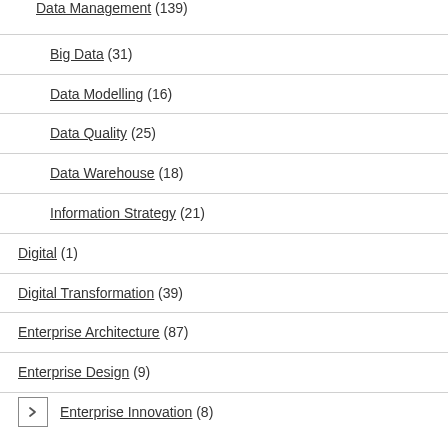Data Management (139)
Big Data (31)
Data Modelling (16)
Data Quality (25)
Data Warehouse (18)
Information Strategy (21)
Digital (1)
Digital Transformation (39)
Enterprise Architecture (87)
Enterprise Design (9)
Enterprise Innovation (8)